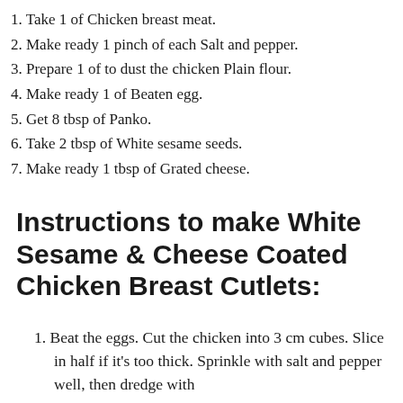1. Take 1 of Chicken breast meat.
2. Make ready 1 pinch of each Salt and pepper.
3. Prepare 1 of to dust the chicken Plain flour.
4. Make ready 1 of Beaten egg.
5. Get 8 tbsp of Panko.
6. Take 2 tbsp of White sesame seeds.
7. Make ready 1 tbsp of Grated cheese.
Instructions to make White Sesame & Cheese Coated Chicken Breast Cutlets:
1. Beat the eggs. Cut the chicken into 3 cm cubes. Slice in half if it's too thick. Sprinkle with salt and pepper well, then dredge with fl...